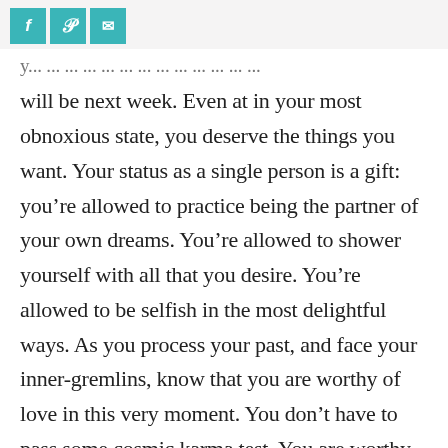f | p | mail icons (social share buttons)
will be next week. Even at in your most obnoxious state, you deserve the things you want. Your status as a single person is a gift: you’re allowed to practice being the partner of your own dreams. You’re allowed to shower yourself with all that you desire. You’re allowed to be selfish in the most delightful ways. As you process your past, and face your inner-gremlins, know that you are worthy of love in this very moment. You don’t have to pass some cosmic karma test. You are worthy of a partnership, and you are beautiful standing by yourself.
Learn to enjoy your own company.